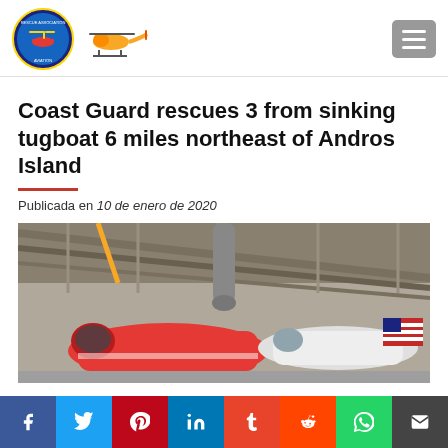[Figure (logo): Coast Guard / aviation organization circular logo with helicopter, and a separate yellow helicopter silhouette icon]
Coast Guard rescues 3 from sinking tugboat 6 miles northeast of Andros Island
Publicada en 10 de enero de 2020
[Figure (photo): Interior of a hangar showing a Coast Guard helicopter (orange/red) and other aircraft with an American flag in the background]
[Figure (infographic): Social media sharing bar with icons for Facebook, Twitter, Pinterest, LinkedIn, Tumblr, Reddit, WhatsApp, and Email]